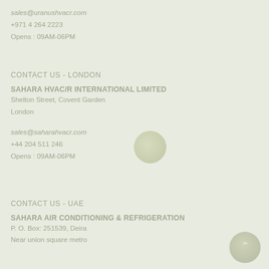sales@uranushvacr.com
+971 4 264 2223
Opens : 09AM-06PM
CONTACT US - LONDON
SAHARA HVAC/R INTERNATIONAL LIMITED
Shelton Street, Covent Garden
London
sales@saharahvacr.com
+44 204 511 246
Opens : 09AM-06PM
CONTACT US - UAE
SAHARA AIR CONDITIONING & REFRIGERATION
P. O. Box: 251539, Deira
Near union square metro